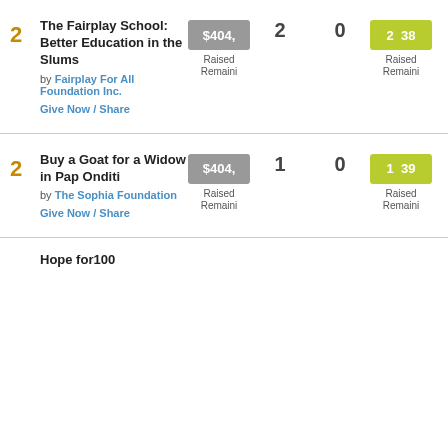2 The Fairplay School: Better Education in the Slums by Fairplay For All Foundation Inc. Give Now / Share | $404 Raised Remaini | 2 | 0 | 2 38 Raised Remaini
2 Buy a Goat for a Widow in Pap Onditi by The Sophia Foundation Give Now / Share | $404 Raised Remaini | 1 | 0 | 1 39 Raised Remaini
Hope for100